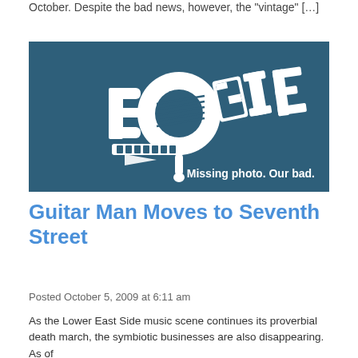October. Despite the bad news, however, the "vintage" […]
[Figure (illustration): Dark blue-grey background with white stylized graffiti-style text reading BOOGIE, with musical note imagery. Text overlay reads 'Missing photo. Our bad.']
Guitar Man Moves to Seventh Street
Posted October 5, 2009 at 6:11 am
As the Lower East Side music scene continues its proverbial death march, the symbiotic businesses are also disappearing. As of